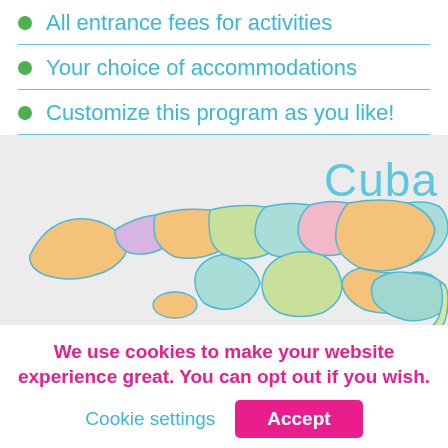All entrance fees for activities
Your choice of accommodations
Customize this program as you like!
[Figure (map): Colorful political map of Cuba showing provinces in pastel colors (orange, pink, green, teal, yellow) with blue outlines. The word 'Cuba' appears in light blue text on the right side of the map.]
We use cookies to make your website experience great. You can opt out if you wish.
Cookie settings
Accept